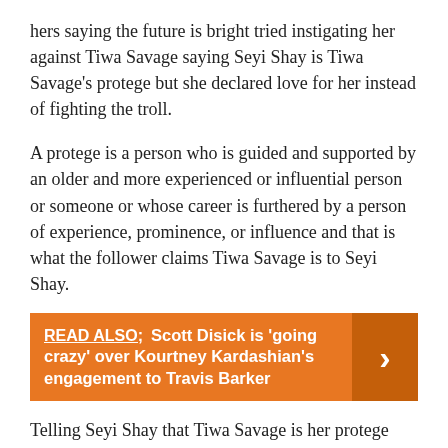hers saying the future is bright tried instigating her against Tiwa Savage saying Seyi Shay is Tiwa Savage's protege but she declared love for her instead of fighting the troll.
A protege is a person who is guided and supported by an older and more experienced or influential person or someone or whose career is furthered by a person of experience, prominence, or influence and that is what the follower claims Tiwa Savage is to Seyi Shay.
READ ALSO;  Scott Disick is 'going crazy' over Kourtney Kardashian's engagement to Travis Barker
Telling Seyi Shay that Tiwa Savage is her protege especially after their banter at the salon